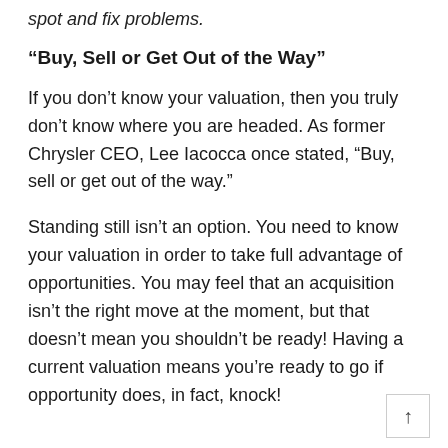spot and fix problems.
“Buy, Sell or Get Out of the Way”
If you don’t know your valuation, then you truly don’t know where you are headed. As former Chrysler CEO, Lee Iacocca once stated, “Buy, sell or get out of the way.”
Standing still isn’t an option. You need to know your valuation in order to take full advantage of opportunities. You may feel that an acquisition isn’t the right move at the moment, but that doesn’t mean you shouldn’t be ready! Having a current valuation means you’re ready to go if opportunity does, in fact, knock!